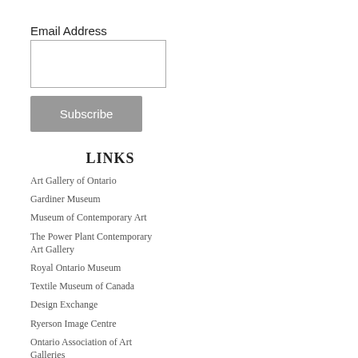Email Address
Subscribe
LINKS
Art Gallery of Ontario
Gardiner Museum
Museum of Contemporary Art
The Power Plant Contemporary Art Gallery
Royal Ontario Museum
Textile Museum of Canada
Design Exchange
Ryerson Image Centre
Ontario Association of Art Galleries
Artist-Run Centres & Collectives of Ontario